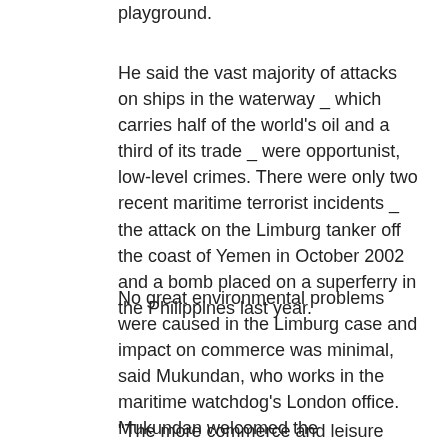playground.
He said the vast majority of attacks on ships in the waterway _ which carries half of the world's oil and a third of its trade _ were opportunist, low-level crimes. There were only two recent maritime terrorist incidents _ the attack on the Limburg tanker off the coast of Yemen in October 2002 and a bomb placed on a superferry in the Philippines last year.
No great environmental problems were caused in the Limburg case and impact on commerce was minimal, said Mukundan, who works in the maritime watchdog's London office. Mukundan welcomed the development of yachting and other tourism and commercial activities in Southeast Asian waters, saying it would spur governments into action.
"The more commerce and leisure activities, the greater the imperative on law enforcement